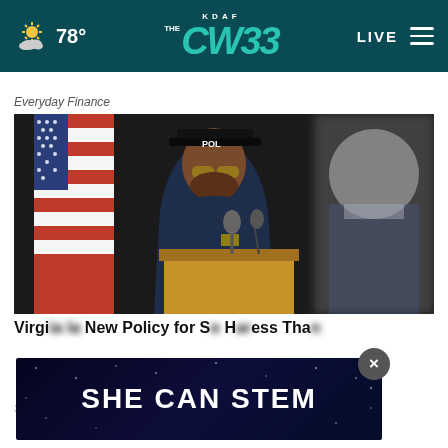KDAF THE CW 33  78°  LIVE
Everyday Finance
[Figure (photo): A police officer in dark uniform and cap with 'POL' visible, wearing aviator sunglasses, standing at a wooden podium with a microphone, in front of an American flag. A blurred white-haired man in a suit is visible in the background.]
Virgi... la... New Policy for S... H... ess Tha...
Smart Lifestyle Trends
[Figure (infographic): Advertisement banner reading 'SHE CAN STEM' in bold white text on dark navy/space background with star pattern]